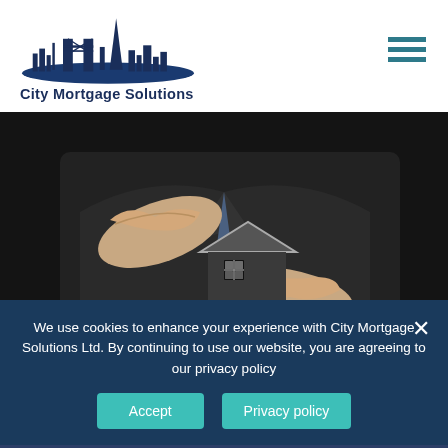[Figure (logo): City Mortgage Solutions logo with London skyline silhouette in dark blue]
[Figure (photo): Business man in dark suit holding a small house model between his hands, dark background]
HOME INSURANCE
To the casual eye, buildings & contents plans may all
We use cookies to enhance your experience with City Mortgage Solutions Ltd. By continuing to use our website, you are agreeing to our privacy policy
Accept
Privacy policy